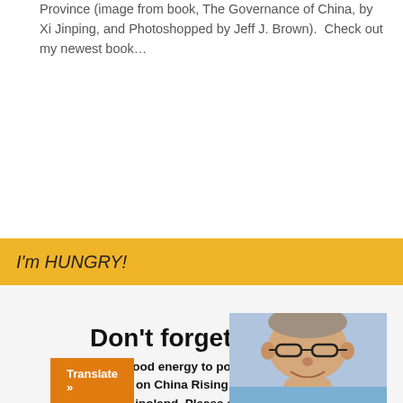Province (image from book, The Governance of China, by Xi Jinping, and Photoshopped by Jeff J. Brown).  Check out my newest book…
Read More »
I'm HUNGRY!
Don't forget—
I need food energy to post articles on China Rising Radio Sinoland. Please add to my monthly ramen noodle budget!
[Figure (photo): Portrait photo of a middle-aged man with glasses and gray hair, smiling, wearing a light blue shirt]
Translate »